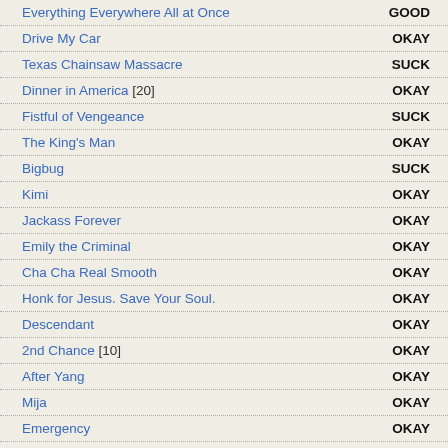Everything Everywhere All at Once — GOOD
Drive My Car — OKAY
Texas Chainsaw Massacre — SUCK
Dinner in America [20] — OKAY
Fistful of Vengeance — SUCK
The King's Man — OKAY
Bigbug — SUCK
Kimi — OKAY
Jackass Forever — OKAY
Emily the Criminal — OKAY
Cha Cha Real Smooth — OKAY
Honk for Jesus. Save Your Soul. — OKAY
Descendant — OKAY
2nd Chance [10] — OKAY
After Yang — OKAY
Mija — OKAY
Emergency — OKAY
Fire of Love — GOOD